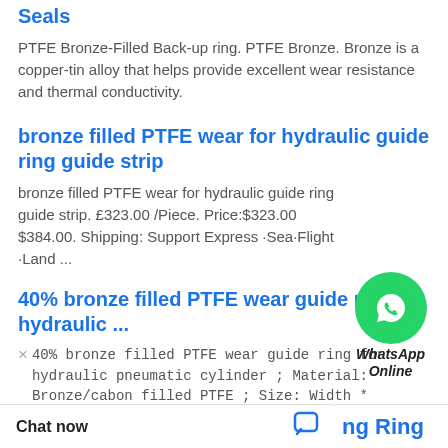Seals
PTFE Bronze-Filled Back-up ring. PTFE Bronze. Bronze is a copper-tin alloy that helps provide excellent wear resistance and thermal conductivity.
bronze filled PTFE wear for hydraulic guide ring guide strip
bronze filled PTFE wear for hydraulic guide ring guide strip. £323.00 /Piece. Price:$323.00 $384.00. Shipping: Support Express ·Sea·Flight ·Land ...
[Figure (illustration): WhatsApp Online chat bubble with green phone icon]
40% bronze filled PTFE wear guide ring for hydraulic ...
40% bronze filled PTFE wear guide ring for hydraulic pneumatic cylinder ; Material: Bronze/cabon filled PTFE ; Size: Width * Thickness ; Uint: KG/Meter/Roll.
Chat now
ng Ring